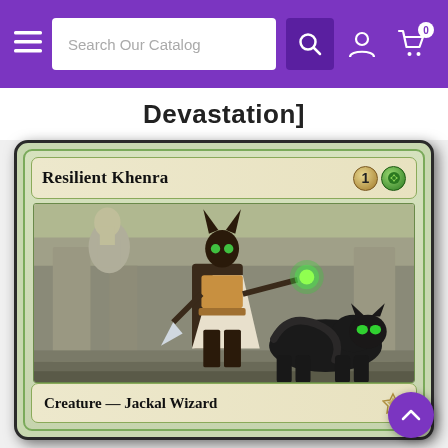Search Our Catalog — navigation bar with hamburger menu, search box, search icon, user icon, cart icon (0)
Devastation]
[Figure (illustration): Magic: The Gathering card 'Resilient Khenra' with mana cost 1G (one generic, one green). Card shows a jackal wizard character in Egyptian-themed armor holding a glowing green orb, accompanied by a black panther-like creature with glowing green eyes, in a stone temple setting. Card type line reads 'Creature — Jackal Wizard'.]